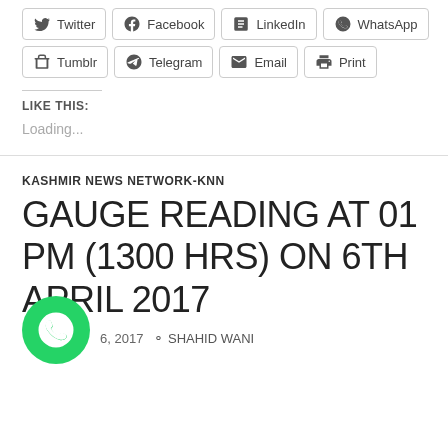[Figure (screenshot): Social share buttons row 1: Twitter, Facebook, LinkedIn, WhatsApp]
[Figure (screenshot): Social share buttons row 2: Tumblr, Telegram, Email, Print]
LIKE THIS:
Loading...
KASHMIR NEWS NETWORK-KNN
GAUGE READING AT 01 PM (1300 HRS) ON 6TH APRIL 2017
6, 2017   SHAHID WANI